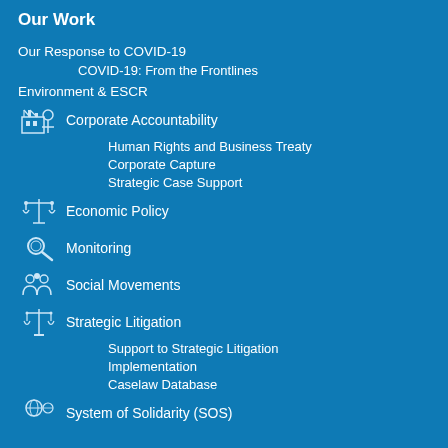Our Work
Our Response to COVID-19
COVID-19: From the Frontlines
Environment & ESCR
Corporate Accountability
Human Rights and Business Treaty
Corporate Capture
Strategic Case Support
Economic Policy
Monitoring
Social Movements
Strategic Litigation
Support to Strategic Litigation
Implementation
Caselaw Database
System of Solidarity (SOS)